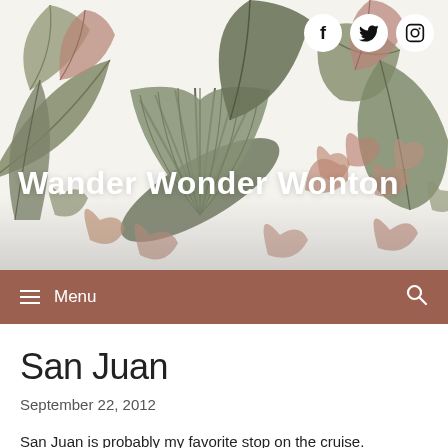[Figure (illustration): Watercolor botanical header illustration with green and dusty rose leaves and fronds on a white background. Social media icons (Facebook, Twitter, Instagram) in white circles top right.]
Wander Wonder Wonton
Menu
San Juan
September 22, 2012
San Juan is probably my favorite stop on the cruise.